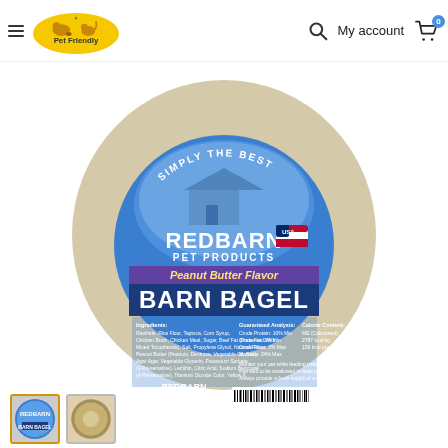Pet Friendly — My account — Cart (0)
[Figure (photo): Redbarn Pet Products Peanut Butter Flavor Barn Bagel dog treat — a round rawhide bagel shape coated in seeds/grains, with a blue circular label reading 'Simply the Best Redbarn Pet Products Peanut Butter Flavor Barn Bagel', Made in USA flag, ingredients, guaranteed analysis, calorie content, barcode, Net Wt. 2oz (56g) 1 Count]
[Figure (photo): Thumbnail image of the Barn Bagel product with blue label, bordered in orange/yellow]
[Figure (photo): Second thumbnail of Barn Bagel product showing alternate view, bordered in gray]